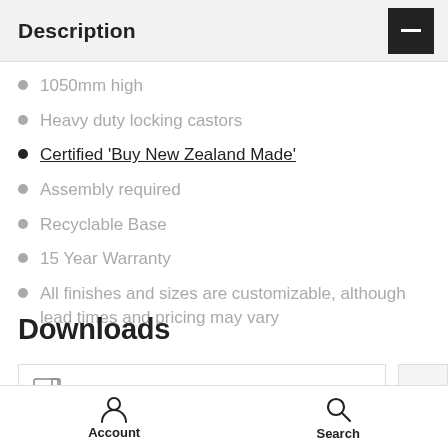Description
1050mm high
Heavy duty locking castors
Certified 'Buy New Zealand Made'
Assembly required
Recyclable Base
15 Year Warranty
All finishes and sizes are customizable, although lead times and pricing may vary
Downloads
Modella II Range Flyer – Version